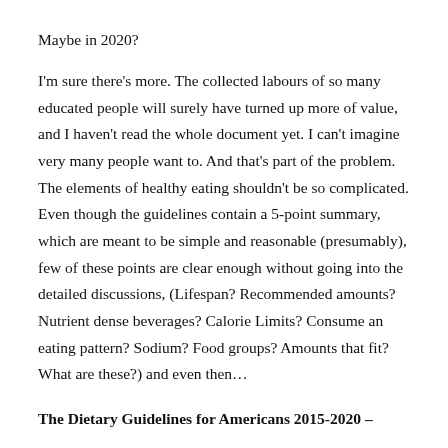Maybe in 2020?
I'm sure there's more. The collected labours of so many educated people will surely have turned up more of value, and I haven't read the whole document yet. I can't imagine very many people want to. And that's part of the problem. The elements of healthy eating shouldn't be so complicated. Even though the guidelines contain a 5-point summary, which are meant to be simple and reasonable (presumably), few of these points are clear enough without going into the detailed discussions, (Lifespan? Recommended amounts? Nutrient dense beverages? Calorie Limits? Consume an eating pattern? Sodium? Food groups? Amounts that fit? What are these?) and even then…
The Dietary Guidelines for Americans 2015-2020 –